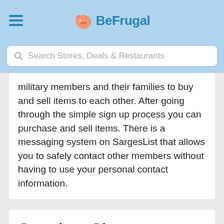BeFrugal
Search Stores, Deals & Restaurants
military members and their families to buy and sell items to each other. After going through the simple sign up process you can purchase and sell items. There is a messaging system on SargesList that allows you to safely contact other members without having to use your personal contact information.
Standout Site: Peace.Love.Swap